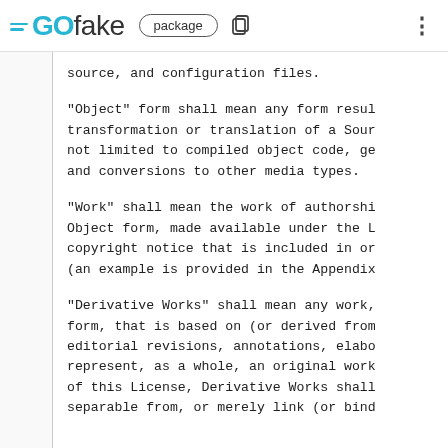GOfake package
source, and configuration files.
"Object" form shall mean any form resulting from mechanical transformation or translation of a Source form, including but not limited to compiled object code, generated documentation, and conversions to other media types.
"Work" shall mean the work of authorship made available in Source or Object form, made available under the License, as indicated by a copyright notice that is included in or attached to the work (an example is provided in the Appendix below).
"Derivative Works" shall mean any work, whether in Source or Object form, that is based on (or derived from) the Work and for which the editorial revisions, annotations, elaborations, or other modifications represent, as a whole, an original work of authorship. For the purposes of this License, Derivative Works shall not include works that remain separable from, or merely link (or bind by name) to the interfaces of,